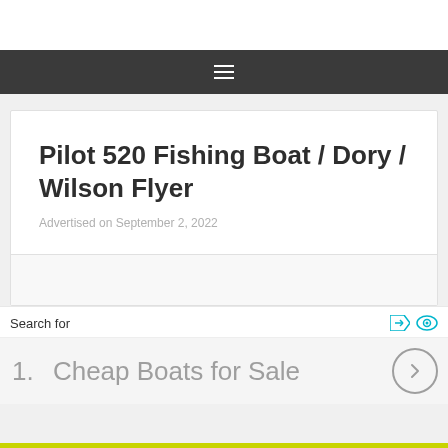Pilot 520 Fishing Boat / Dory / Wilson Flyer
Advertised on September 2, 2022
Search for
1.  Cheap Boats for Sale